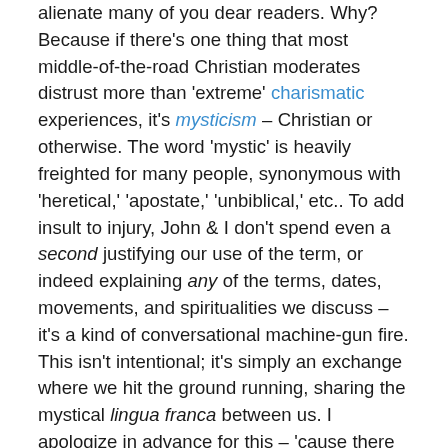alienate many of you dear readers. Why? Because if there's one thing that most middle-of-the-road Christian moderates distrust more than 'extreme' charismatic experiences, it's mysticism – Christian or otherwise. The word 'mystic' is heavily freighted for many people, synonymous with 'heretical,' 'apostate,' 'unbiblical,' etc.. To add insult to injury, John & I don't spend even a second justifying our use of the term, or indeed explaining any of the terms, dates, movements, and spiritualities we discuss – it's a kind of conversational machine-gun fire. This isn't intentional; it's simply an exchange where we hit the ground running, sharing the mystical lingua franca between us. I apologize in advance for this – 'cause there simply wouldn't be space in this post if we backed up and defined everything…it's a blog entry, not a dissertation! For this reason, I've tried to link to anything that might be unfamiliar territory… thank God for Wikipedia!